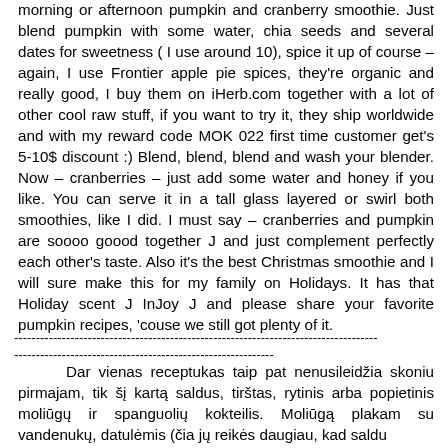morning or afternoon pumpkin and cranberry smoothie. Just blend pumpkin with some water, chia seeds and several dates for sweetness ( I use around 10), spice it up of course – again, I use Frontier apple pie spices, they're organic and really good, I buy them on iHerb.com together with a lot of other cool raw stuff, if you want to try it, they ship worldwide and with my reward code MOK 022 first time customer get's 5-10$ discount :) Blend, blend, blend and wash your blender. Now – cranberries – just add some water and honey if you like. You can serve it in a tall glass layered or swirl both smoothies, like I did. I must say – cranberries and pumpkin are soooo goood together J and just complement perfectly each other's taste. Also it's the best Christmas smoothie and I will sure make this for my family on Holidays. It has that Holiday scent J InJoy J and please share your favorite pumpkin recipes, 'couse we still got plenty of it.
------------------------------------------------------------------------------------
------------------------------------------------------------
Dar vienas receptukas taip pat nenusileidžia skoniu pirmajam, tik šį kartą saldus, tirštas, rytinis arba popietinis moliūgų ir spanguolių kokteilis. Moliūgą plakam su vandenukų, datulėmis (čia jų reikės daugiau, kad saldu